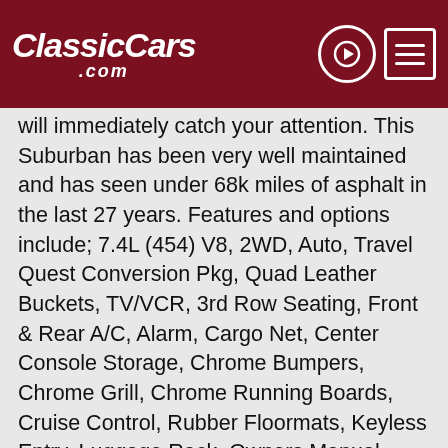ClassicCars.com
will immediately catch your attention. This Suburban has been very well maintained and has seen under 68k miles of asphalt in the last 27 years. Features and options include; 7.4L (454) V8, 2WD, Auto, Travel Quest Conversion Pkg, Quad Leather Buckets, TV/VCR, 3rd Row Seating, Front & Rear A/C, Alarm, Cargo Net, Center Console Storage, Chrome Bumpers, Chrome Grill, Chrome Running Boards, Cruise Control, Rubber Floormats, Keyless Entry, Luggage Rack, Owners Manual, Power Driver Seat, Power Windows/Locks/Mirrors, Rear Window Defrost, Factory AM/FM Cassette w/ EQ, Tilt Steering, Tinted Glass, Tow Package, Spare w/ Cover, 16" 8-Lug Factory Chrome Wheels, and Thick Michelin 245/75/R16 Tires! When you are ready to haul the family for 1/4 of a new Suburban price tag yet twice the style, give us a call to own this pristine Suburban